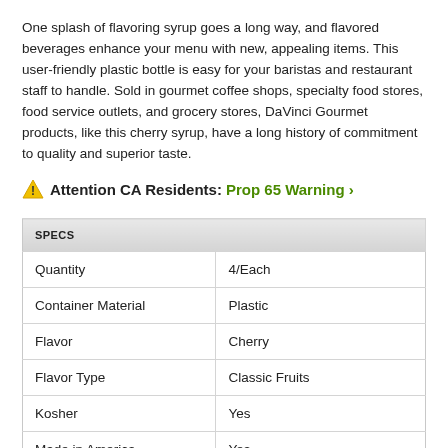One splash of flavoring syrup goes a long way, and flavored beverages enhance your menu with new, appealing items. This user-friendly plastic bottle is easy for your baristas and restaurant staff to handle. Sold in gourmet coffee shops, specialty food stores, food service outlets, and grocery stores, DaVinci Gourmet products, like this cherry syrup, have a long history of commitment to quality and superior taste.
⚠ Attention CA Residents: Prop 65 Warning ›
| SPECS |  |
| --- | --- |
| Quantity | 4/Each |
| Container Material | Plastic |
| Flavor | Cherry |
| Flavor Type | Classic Fruits |
| Kosher | Yes |
| Made in America | Yes |
|  | Flavoring Syrups |